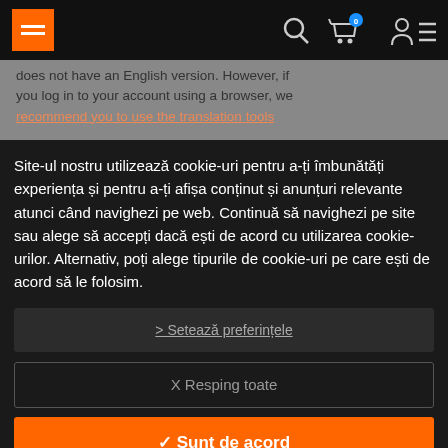Navigation bar with logo, search, cart (0), account, menu icons
does not have an English version. However, if you log in to your account using a browser, we recommend you to use the translation tools ... access a page within its own language access ... within the original language
Site-ul nostru utilizează cookie-uri pentru a-ți îmbunătăți experiența și pentru a-ți afișa conținut și anunțuri relevante atunci când navighezi pe web. Continuă să navighezi pe site sau alege să accepți dacă ești de acord cu utilizarea cookie-urilor. Alternativ, poți alege tipurile de cookie-uri pe care ești de acord să le folosim.
> Setează preferințele
X Resping toate
✓ Sunt de acord